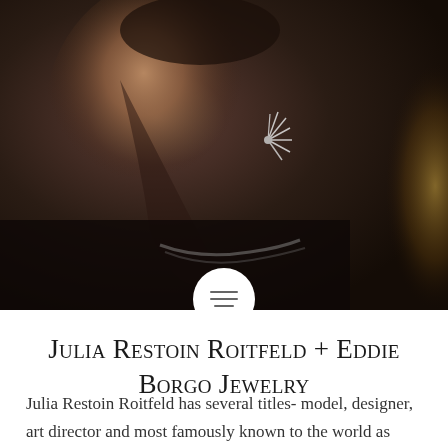[Figure (photo): A dark, moody fashion photograph of a woman in profile view (left side of face visible). She has dark hair pulled back, dramatic eye makeup, and wears a sculptural silver earring resembling radiating spikes, plus a chunky metallic chain necklace. The background is very dark brown/black with warm golden tones on the right. A white circular icon with three horizontal lines (hamburger menu icon) overlaps the bottom center of the photo.]
Julia Restoin Roitfeld + Eddie Borgo Jewelry
Julia Restoin Roitfeld has several titles- model, designer, art director and most famously known to the world as daughter to Carine Roitfeld of Paris Vogue. The stunning